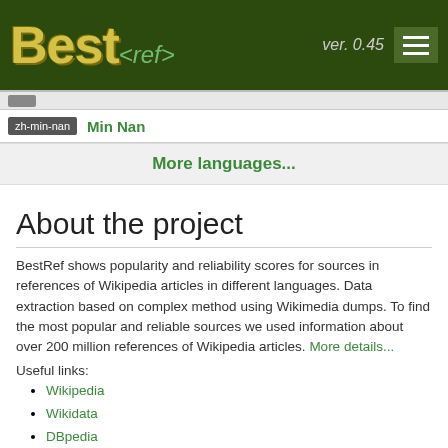Best<ref> ver. 0.45
zh-min-nan   Min Nan
More languages...
About the project
BestRef shows popularity and reliability scores for sources in references of Wikipedia articles in different languages. Data extraction based on complex method using Wikimedia dumps. To find the most popular and reliable sources we used information about over 200 million references of Wikipedia articles. More details...
Useful links:
Wikipedia
Wikidata
DBpedia
WikiO...